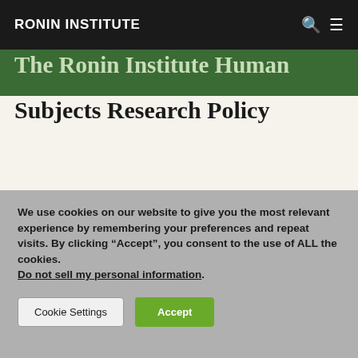RONIN INSTITUTE
The Ronin Institute Human Subjects Research Policy
We use cookies on our website to give you the most relevant experience by remembering your preferences and repeat visits. By clicking “Accept”, you consent to the use of ALL the cookies. Do not sell my personal information.
Cookie Settings | Accept